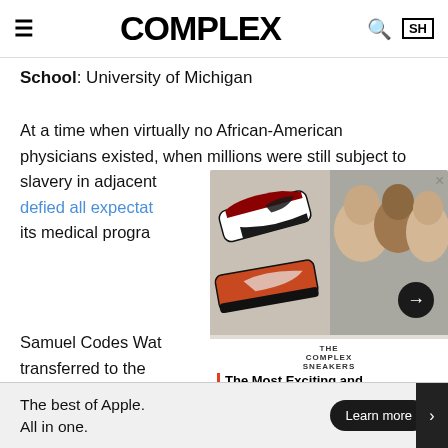COMPLEX
School: University of Michigan
At a time when virtually no African-American physicians existed, when millions were still subject to slavery in adjacent defied all expectat its medical progra
[Figure (screenshot): Complex Sneakers video overlay with sneaker images and podcast hosts, titled 'The Most Exciting and Disappointing Sneakers Coming This Year | The Complex Sneake...']
Samuel Codes Wat transferred to the the curriculum at C include medicine. medical school was in Ann Arbor, and was surely
caug Afric yn
[Figure (infographic): Apple advertisement banner: 'The best of Apple. All in one.' with 'Learn more' button]